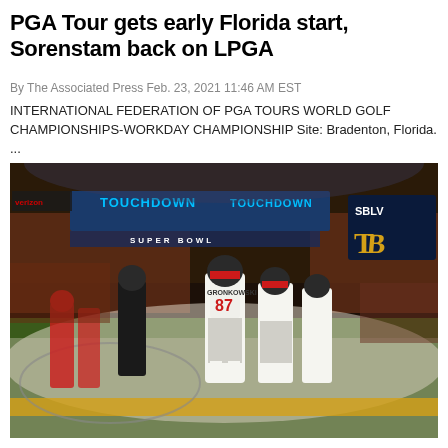PGA Tour gets early Florida start, Sorenstam back on LPGA
By The Associated Press Feb. 23, 2021 11:46 AM EST
INTERNATIONAL FEDERATION OF PGA TOURS WORLD GOLF CHAMPIONSHIPS-WORKDAY CHAMPIONSHIP Site: Bradenton, Florida. ...
[Figure (photo): NFL Super Bowl celebration photo showing Tampa Bay Buccaneers players including player #87 GRONKOWSKI celebrating a touchdown in the end zone. Stadium scoreboard reads TOUCHDOWN in the background, with SB LV branding visible. Players in white and red uniforms celebrate while Kansas City Chiefs players in red are visible in the background.]